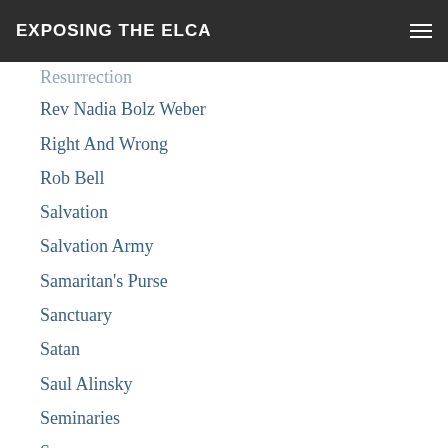EXPOSING THE ELCA
Resurrection
Rev Nadia Bolz Weber
Right And Wrong
Rob Bell
Salvation
Salvation Army
Samaritan's Purse
Sanctuary
Satan
Saul Alinsky
Seminaries
Sex
Silencing Free Speech
Silencing Pastors
Sin
Smudging
Socialism
Social Justice